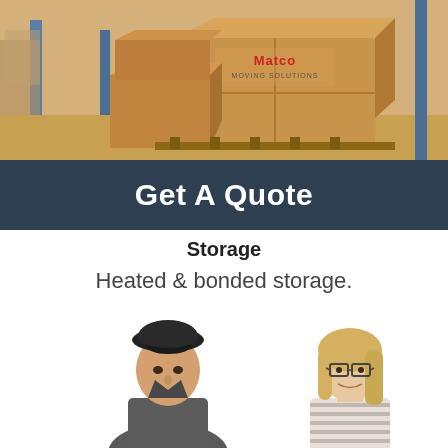[Figure (photo): Warehouse with stacked cardboard boxes labeled 'Matco Moving Solutions' on a wooden pallet in a storage facility]
Get A Quote
Storage
Heated & bonded storage.
[Figure (photo): A male mover in a dark uniform and cap facing a blonde woman with glasses wearing a striped shirt, on a white background]